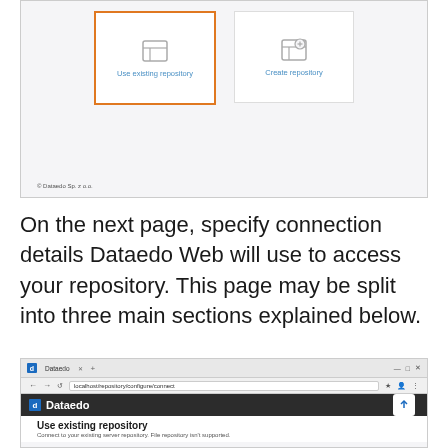[Figure (screenshot): Screenshot showing two option cards: 'Use existing repository' (selected/highlighted with orange border) and 'Create repository'. Footer shows '© Dataedo Sp. z o.o.']
On the next page, specify connection details Dataedo Web will use to access your repository. This page may be split into three main sections explained below.
[Figure (screenshot): Browser screenshot showing Dataedo web app at localhost/repository/configure/connect with 'Use existing repository' heading and subtitle 'Connect to your existing server repository. File repository isn't supported.']